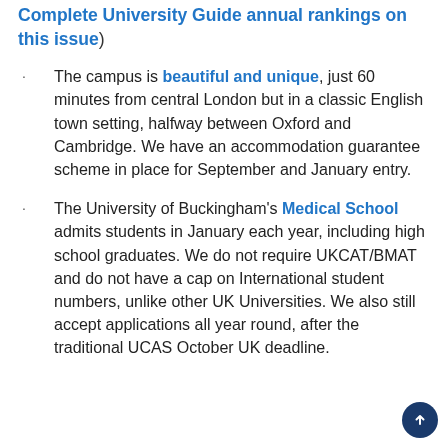Complete University Guide annual rankings on this issue)
The campus is beautiful and unique, just 60 minutes from central London but in a classic English town setting, halfway between Oxford and Cambridge. We have an accommodation guarantee scheme in place for September and January entry.
The University of Buckingham's Medical School admits students in January each year, including high school graduates. We do not require UKCAT/BMAT and do not have a cap on International student numbers, unlike other UK Universities. We also still accept applications all year round, after the traditional UCAS October UK deadline.